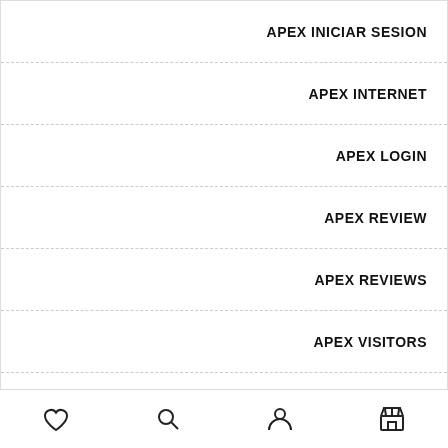APEX INICIAR SESION
APEX INTERNET
APEX LOGIN
APEX REVIEW
APEX REVIEWS
APEX VISITORS
APLICACIONES-DE-CITAS REVIEW
APLICACIONES-DE-CITAS REVIEWS
Navigation bar with heart, search, user, and store icons